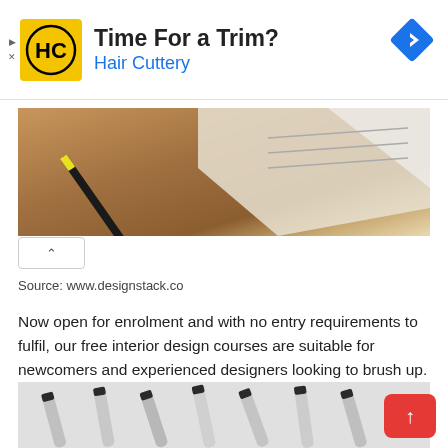[Figure (advertisement): Hair Cuttery ad banner with yellow HC logo, text 'Time For a Trim?' and 'Hair Cuttery' in blue, and a blue navigation diamond icon on the right]
[Figure (photo): Top portion of a photo showing design materials including pencils, papers, and wooden surface]
Source: www.designstack.co
Now open for enrolment and with no entry requirements to fulfil, our free interior design courses are suitable for newcomers and experienced designers looking to brush up. Olga has received numerous international prizes for both design and.
[Figure (photo): Bottom portion of a photo showing markers or pens laid on a white surface]